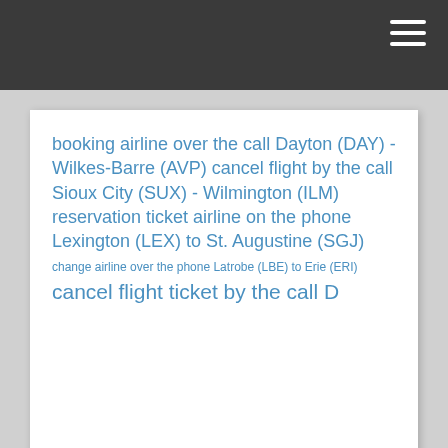booking airline over the call Dayton (DAY) - Wilkes-Barre (AVP) cancel flight by the call Sioux City (SUX) - Wilmington (ILM) reservation ticket airline on the phone Lexington (LEX) to St. Augustine (SGJ) change airline over the phone Latrobe (LBE) to Erie (ERI) cancel flight ticket by the call Delano (DRO) - Redwood...